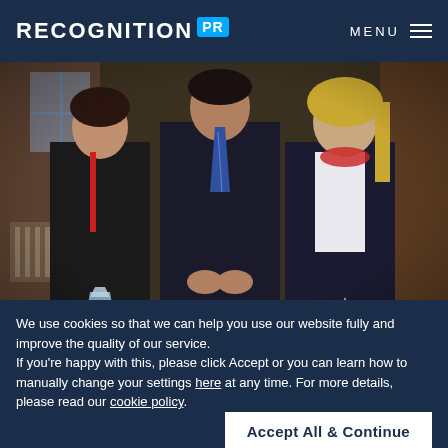RECOGNITION PR   MENU
[Figure (photo): Three people standing together indoors. A woman on the left in a black outfit with a red lanyard holding a crystal award, a man in the center in a dark suit with a blue striped tie, and a woman on the right in a dark blazer and white top with a red scarf holding a star-shaped award.]
Lisa Taylor, left, and Louise Holanda, right, with
We use cookies so that we can help you use our website fully and improve the quality of our service.
If you're happy with this, please click Accept or you can learn how to manually change your settings here at any time. For more details, please read our cookie policy.
Accept All & Continue